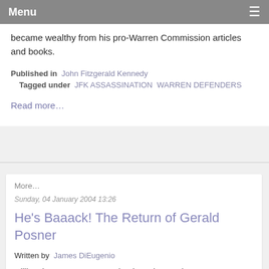Menu
became wealthy from his pro-Warren Commission articles and books.
Published in  John Fitzgerald Kennedy
Tagged under  JFK ASSASSINATION  WARREN DEFENDERS
Read more…
More…
Sunday, 04 January 2004 13:26
He's Baaack! The Return of Gerald Posner
Written by  James DiEugenio
Killing the Dream, Posner's book on the Martin